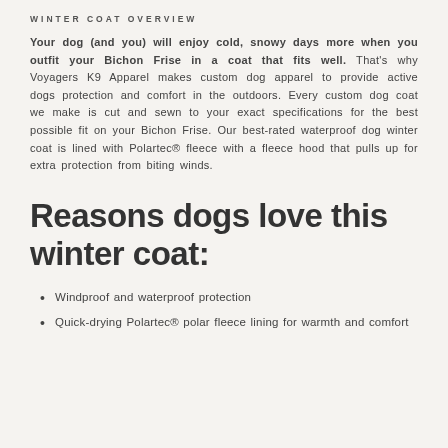WINTER COAT OVERVIEW
Your dog (and you) will enjoy cold, snowy days more when you outfit your Bichon Frise in a coat that fits well. That's why Voyagers K9 Apparel makes custom dog apparel to provide active dogs protection and comfort in the outdoors. Every custom dog coat we make is cut and sewn to your exact specifications for the best possible fit on your Bichon Frise. Our best-rated waterproof dog winter coat is lined with Polartec® fleece with a fleece hood that pulls up for extra protection from biting winds.
Reasons dogs love this winter coat:
Windproof and waterproof protection
Quick-drying Polartec® polar fleece lining for warmth and comfort